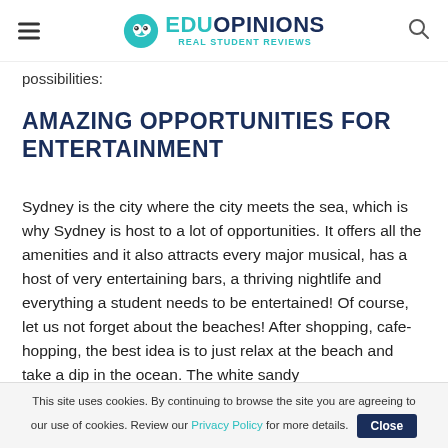EduOpinions – Real Student Reviews
possibilities:
AMAZING OPPORTUNITIES FOR ENTERTAINMENT
Sydney is the city where the city meets the sea, which is why Sydney is host to a lot of opportunities. It offers all the amenities and it also attracts every major musical, has a host of very entertaining bars, a thriving nightlife and everything a student needs to be entertained! Of course, let us not forget about the beaches! After shopping, cafe-hopping, the best idea is to just relax at the beach and take a dip in the ocean. The white sandy
This site uses cookies. By continuing to browse the site you are agreeing to our use of cookies. Review our Privacy Policy for more details.